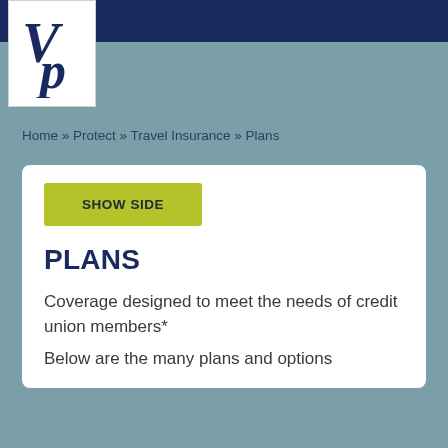[Figure (logo): VP monogram logo in dark navy blue on white background]
Home » Protect » Travel Insurance » Plans
SHOW SIDE
PLANS
Coverage designed to meet the needs of credit union members*
Below are the many plans and options